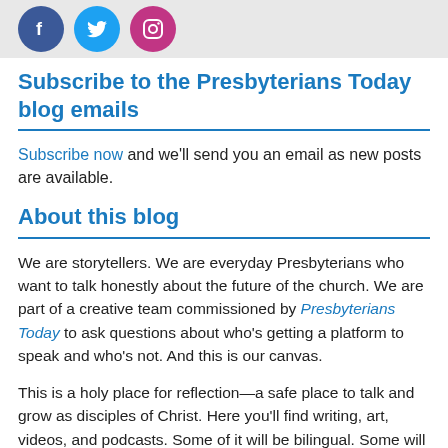[Figure (illustration): Social media icons: Facebook (blue circle with f), Twitter (blue circle with bird), Instagram (pink/purple circle with camera) on a light grey background bar]
Subscribe to the Presbyterians Today blog emails
Subscribe now and we'll send you an email as new posts are available.
About this blog
We are storytellers. We are everyday Presbyterians who want to talk honestly about the future of the church. We are part of a creative team commissioned by Presbyterians Today to ask questions about who's getting a platform to speak and who's not. And this is our canvas.
This is a holy place for reflection—a safe place to talk and grow as disciples of Christ. Here you'll find writing, art, videos, and podcasts. Some of it will be bilingual. Some will be collaborative